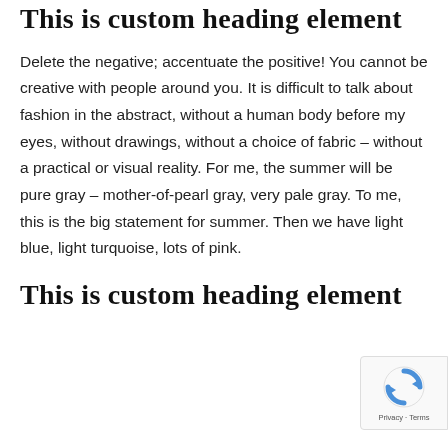This is custom heading element
Delete the negative; accentuate the positive! You cannot be creative with people around you. It is difficult to talk about fashion in the abstract, without a human body before my eyes, without drawings, without a choice of fabric – without a practical or visual reality. For me, the summer will be pure gray – mother-of-pearl gray, very pale gray. To me, this is the big statement for summer. Then we have light blue, light turquoise, lots of pink.
This is custom heading element
[Figure (logo): reCAPTCHA badge with Google logo and Privacy · Terms text]